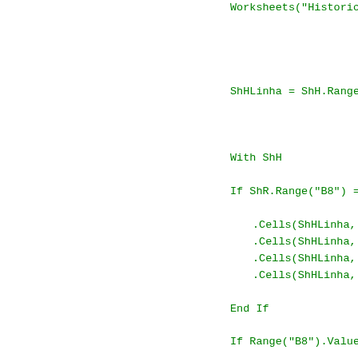Worksheets("Historico").Unprotect ""

ShHLinha = ShH.Range("A" & Rows

With ShH

If ShR.Range("B8") = "Construção p

    .Cells(ShHLinha, 7).Value = ShR.
    .Cells(ShHLinha, 8).Value = ShR.
    .Cells(ShHLinha, 9).Value = ShR.
    .Cells(ShHLinha, 10).Value = ShR

End If

If Range("B8").Value = "Fundação d

    .Cells(ShHLinha, 11).Value = ShR
    .Cells(ShHLinha, 12).Value = ShR